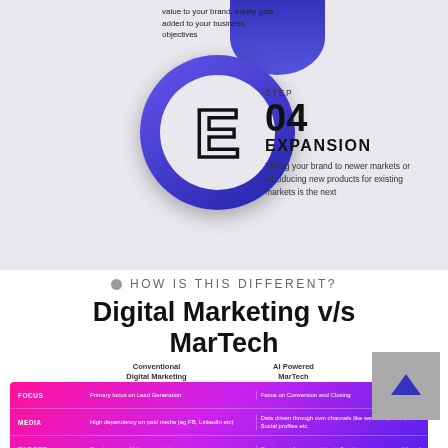value to your brand, equity gets added to your business objectives
[Figure (infographic): Step 04 Expansion infographic with large letter E in a dark blue circle with connector blob, and step description text to the right]
STEP 04 EXPANSION Taking your brand to newer markets or introducing new products for existing markets is the next
HOW IS THIS DIFFERENT?
Digital Marketing v/s MarTech
|  | Conventional Digital Marketing | AI Powered MarTech |
| --- | --- | --- |
| FOCUS | Primary focus on Lead Generation | Focus on Conversion and Closing |
| MEDIA | High dependency on paid media (eg FB, LinkedIn etc) | Data driven through own channels like website, Email, Social profiles etc |
| TARGET | One to many - Unknown recipients | One to one, known recipients (location, name, age, address) |
| TOOLS | Usage largely limited to SEO and Keyword Planning | 1000s of tools available to build marketing stack. A separate stack can be build for each |